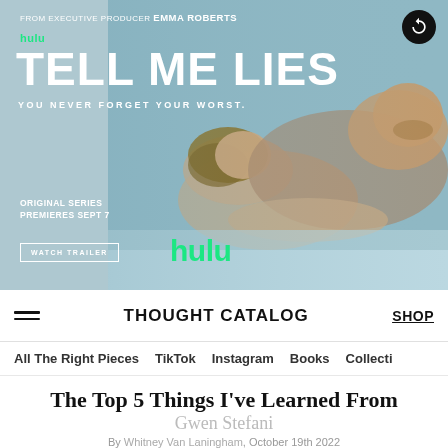[Figure (photo): Hulu 'Tell Me Lies' advertisement banner showing a couple lying together in bed in an intimate pose, with muted blue-grey tones. Text overlay reads: FROM EXECUTIVE PRODUCER EMMA ROBERTS, hulu, TELL ME LIES, YOU NEVER FORGET YOUR WORST., ORIGINAL SERIES PREMIERES SEPT 7, WATCH TRAILER button, and hulu logo in green.]
THOUGHT CATALOG   SHOP
All The Right Pieces   TikTok   Instagram   Books   Collecti
The Top 5 Things I've Learned From Gwen Stefani
By Whitney Van Laningham, October 19th 2022